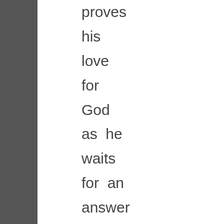proves his love for God as he waits for an answer to his problem. Whatever problem we face, we must be sure to do what we